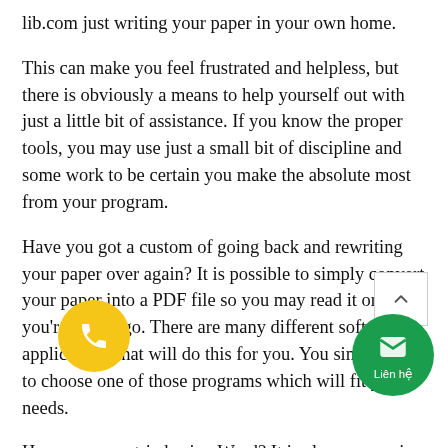lib.com just writing your paper in your own home.
This can make you feel frustrated and helpless, but there is obviously a means to help yourself out with just a little bit of assistance. If you know the proper tools, you may use just a small bit of discipline and some work to be certain you make the absolute most from your program.
Have you got a custom of going back and rewriting your paper over again? It is possible to simply convert your paper into a PDF file so you may read it once you're on the go. There are many different software applications that will do this for you. You simply need to choose one of those programs which will fit your needs.
Have you ever tried using Word? It is also an amazing instrument for writing anything down and composing in a manner that you can see what it looks like. The word pro­cessor might make it easy to follow directions and thoughts as you're working on them.
Computer generated animation is another way you can utilize technology to make it a lot easier to learn the material you're